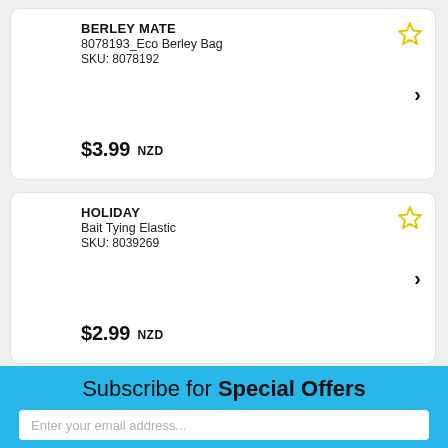BERLEY MATE
8078193_Eco Berley Bag
SKU: 8078192
$3.99 NZD
HOLIDAY
Bait Tying Elastic
SKU: 8039269
$2.99 NZD
Subscribe for Special Offers
Enter your email address...